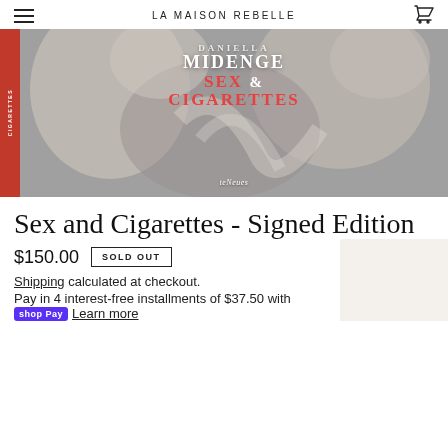LA MAISON REBELLE
[Figure (photo): Book cover for 'Sex and Cigarettes' by Daniella Midenge, published by teNeues. Black and white photography of figures with the title overlaid in white and red serif text. Book spine visible on left in red.]
Sex and Cigarettes - Signed Edition
$150.00  SOLD OUT
Shipping calculated at checkout.
Pay in 4 interest-free installments of $37.50 with shop Pay  Learn more